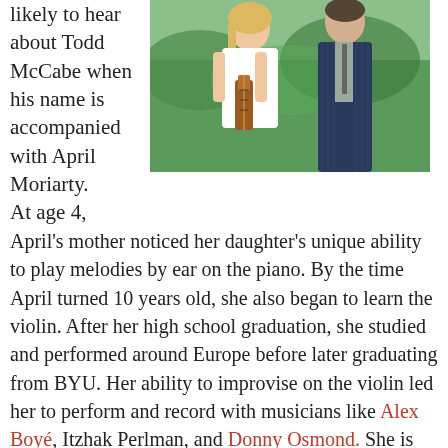likely to hear about Todd McCabe when his name is accompanied with April Moriarty. At age 4,
[Figure (photo): A woman with blonde hair holding a violin and a man in a dark pinstripe suit standing outdoors with green foliage in the background.]
April's mother noticed her daughter's unique ability to play melodies by ear on the piano. By the time April turned 10 years old, she also began to learn the violin. After her high school graduation, she studied and performed around Europe before later graduating from BYU. Her ability to improvise on the violin led her to perform and record with musicians like Alex Boyé, Itzhak Perlman, and Donny Osmond. She is the mother of three children and two dogs.
For years Todd and April have grown and improved...